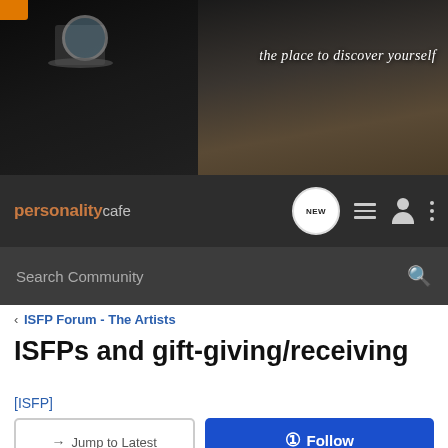[Figure (photo): Hero banner with coffee cup on dark background, tagline 'the place to discover yourself' in white italic script on the right side]
personalitycafe — nav bar with NEW button, hamburger menu, user icon, and dots menu
Search Community
< ISFP Forum - The Artists
ISFPs and gift-giving/receiving
[ISFP]
→ Jump to Latest
+ Follow
1 - 6 of 6 Posts
vocalist · Registered